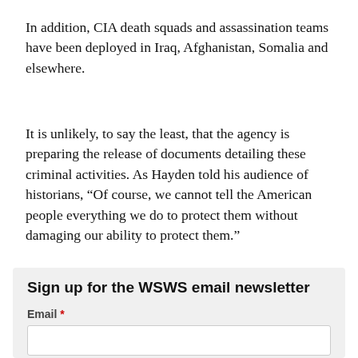In addition, CIA death squads and assassination teams have been deployed in Iraq, Afghanistan, Somalia and elsewhere.
It is unlikely, to say the least, that the agency is preparing the release of documents detailing these criminal activities. As Hayden told his audience of historians, “Of course, we cannot tell the American people everything we do to protect them without damaging our ability to protect them.”
Sign up for the WSWS email newsletter
Email *
I want to receive this newsletter. I agree that any information submitted to this form will be processed in accordance with the privacy